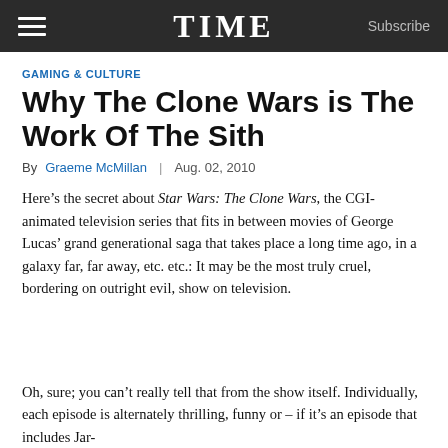TIME  Subscribe
GAMING & CULTURE
Why The Clone Wars is The Work Of The Sith
By Graeme McMillan  |  Aug. 02, 2010
Here’s the secret about Star Wars: The Clone Wars, the CGI-animated television series that fits in between movies of George Lucas’ grand generational saga that takes place a long time ago, in a galaxy far, far away, etc. etc.: It may be the most truly cruel, bordering on outright evil, show on television.
Oh, sure; you can’t really tell that from the show itself. Individually, each episode is alternately thrilling, funny or – if it’s an episode that includes Jar-Jar Binks – difficult to watch, but with the show’s recurring mission to put its characters in terrible situations...